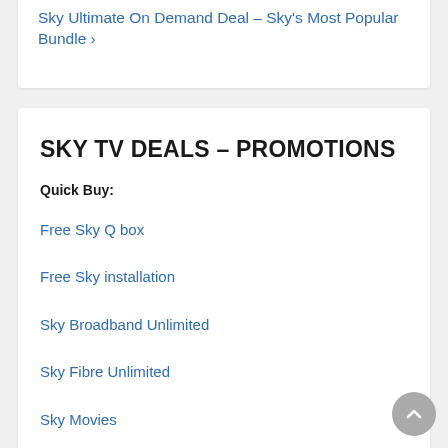Sky Ultimate On Demand Deal – Sky's Most Popular Bundle ›
SKY TV DEALS – PROMOTIONS
Quick Buy:
Free Sky Q box
Free Sky installation
Sky Broadband Unlimited
Sky Fibre Unlimited
Sky Movies